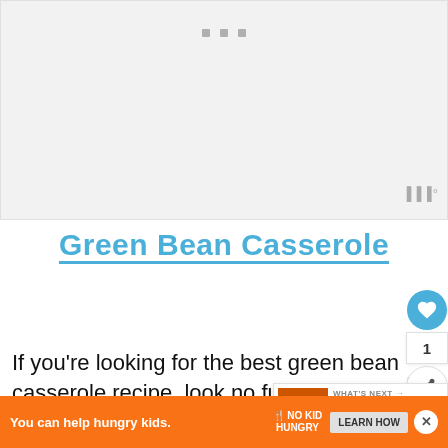[Figure (photo): Top image placeholder area with gray background, three dots at top center, and icon at bottom right]
Green Bean Casserole
If you’re looking for the best green bean casserole recipe, look no further! This version requires only four ingredients
[Figure (screenshot): What’s Next widget showing Best DIY Thanksgivin... thumbnail]
[Figure (infographic): Ad banner: You can help hungry kids. NO KID HUNGRY. LEARN HOW button.]